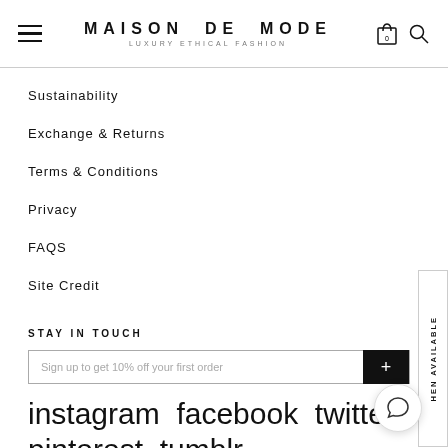MAISON DE MODE — LUXURY ETHICAL FASHION
Sustainability
Exchange & Returns
Terms & Conditions
Privacy
FAQS
Site Credit
STAY IN TOUCH
Sign up to get 10% off your first order
instagram  facebook  twitterb  pinterest  tumblr